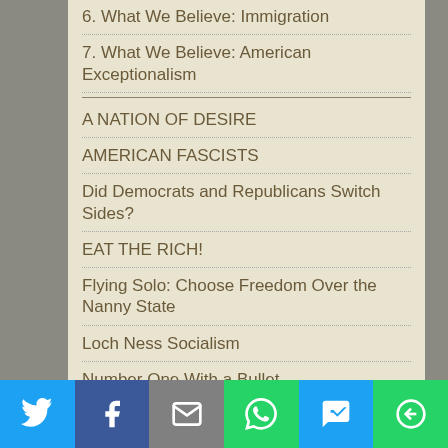6. What We Believe: Immigration
7. What We Believe: American Exceptionalism
A NATION OF DESIRE
AMERICAN FASCISTS
Did Democrats and Republicans Switch Sides?
EAT THE RICH!
Flying Solo: Choose Freedom Over the Nanny State
Loch Ness Socialism
Number One With a Bullet
Rich Man, Poor Man